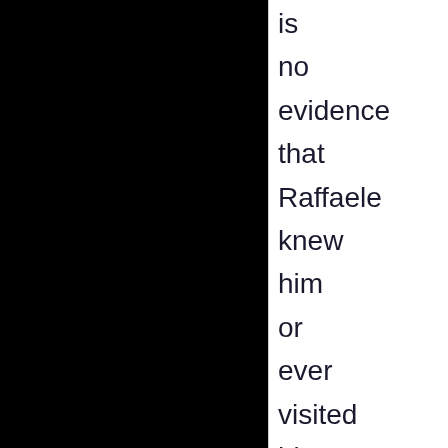is no evidence that Raffaele knew him or ever visited him. If Laura and Filomena didn't know Rudy and are ruled out as murderers, not